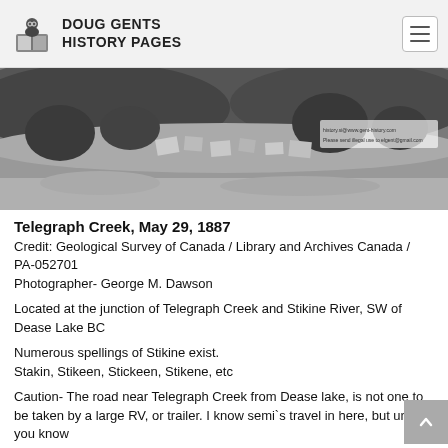Doug Gents History Pages
[Figure (photo): Black and white aerial photograph of Telegraph Creek settlement, May 29, 1887, showing wooden buildings and structures amid vegetation.]
Telegraph Creek, May 29, 1887
Credit: Geological Survey of Canada / Library and Archives Canada / PA-052701
Photographer- George M. Dawson
Located at the junction of Telegraph Creek and Stikine River, SW of Dease Lake BC
Numerous spellings of Stikine exist.
Stakin, Stikeen, Stickeen, Stikene, etc
Caution- The road near Telegraph Creek from Dease lake, is not one to be taken by a large RV, or trailer. I know semi`s travel in here, but unless you know